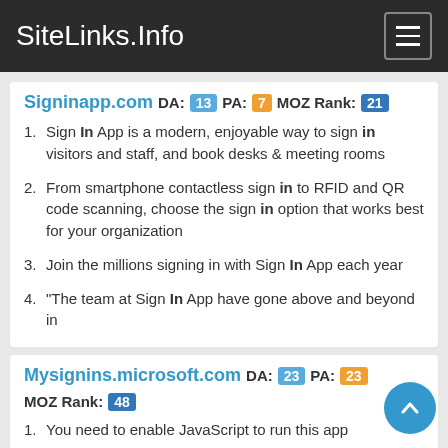SiteLinks.Info
Signinapp.com  DA: 13  PA: 7  MOZ Rank: 21
Sign In App is a modern, enjoyable way to sign in visitors and staff, and book desks & meeting rooms
From smartphone contactless sign in to RFID and QR code scanning, choose the sign in option that works best for your organization
Join the millions signing in with Sign In App each year
"The team at Sign In App have gone above and beyond in
Mysignins.microsoft.com  DA: 23  PA: 23  MOZ Rank: 48
You need to enable JavaScript to run this app
My Sign-Ins. You need to enable JavaScript to run this app